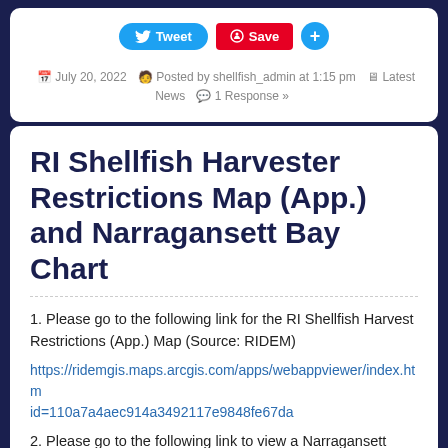[Figure (screenshot): Social media share buttons: Tweet (Twitter/blue), Save (Pinterest/red), Plus (blue circle)]
July 20, 2022   Posted by shellfish_admin at 1:15 pm   Latest News   1 Response »
RI Shellfish Harvester Restrictions Map (App.) and Narragansett Bay Chart
1. Please go to the following link for the RI Shellfish Harvest Restrictions (App.) Map (Source: RIDEM)
https://ridemgis.maps.arcgis.com/apps/webappviewer/index.htm
id=110a7a4aec914a3492117e9848fe67da
2. Please go to the following link to view a Narragansett Ba...